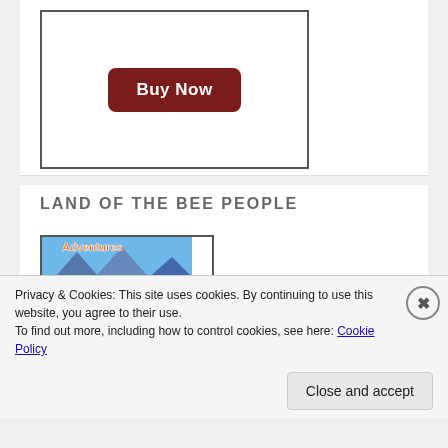[Figure (screenshot): Buy Now button — dark red rounded rectangle with white bold text]
LAND OF THE BEE PEOPLE
[Figure (illustration): Book cover illustration for 'Land of the Bee People' showing cartoon bees in a colorful outdoor scene with a wooden sign reading 'Bee People']
Land of the Bee ...
B. C. Needham
Privacy & Cookies: This site uses cookies. By continuing to use this website, you agree to their use.
To find out more, including how to control cookies, see here: Cookie Policy
Close and accept